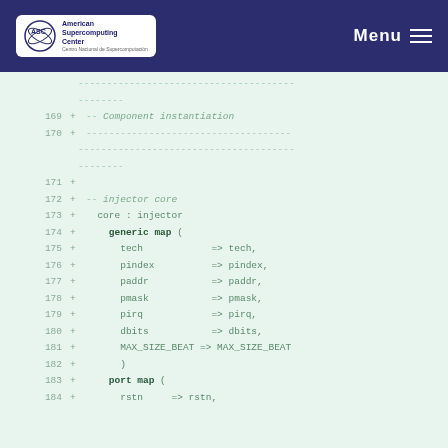ASC American Supercomputing Center — Menu
Code diff view showing VHDL component instantiation, lines 169-184
169 + -- Component instantiation
170 + -------------------------------------------
171 +
172 + -- injector core
173 + core : injector
174 + generic map (
175 + tech => tech,
176 + pindex => pindex,
177 + paddr => paddr,
178 + pmask => pmask,
179 + pirq => pirq,
180 + dbits => dbits,
181 + MAX_SIZE_BEAT => MAX_SIZE_BEAT
182 + )
183 + port map (
184 + rstn => rstn,